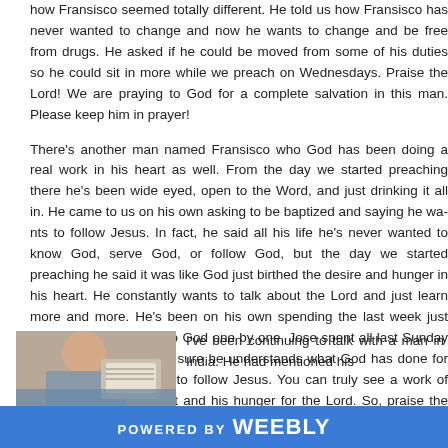how Fransisco seemed totally different. He told us how Fransisco has never wanted to change and now he wants to change and be free from drugs. He asked if he could be moved from some of his duties so he could sit in more while we preach on Wednesdays. Praise the Lord! We are praying to God for a complete salvation in this man. Please keep him in prayer!
There's another man named Fransisco who God has been doing a real work in his heart as well. From the day we started preaching there he's been wide eyed, open to the Word, and just drinking it all in. He came to us on his own asking to be baptized and saying he wants to follow Jesus. In fact, he said all his life he's never wanted to know God, serve God, or follow God, but the day we started preaching he said it was like God just birthed the desire and hunger in his heart. He constantly wants to talk about the Lord and just learn more and more. He's been on his own spending the last week just confessing all his sins to God one by one. Jose spent all last Sunday talking with him making sure he understands what God has done for him and what it means to follow Jesus. You can truly see a work of God's grace in his heart and his hunger for the Lord. So, praise the Lord, we'll be baptizing him this next Wednesday and continuing to teach him to obey all that Christ commanded! (Matt 28:18)
[Figure (photo): Photo of a man indoors, holding or standing near a document or sign with text]
I've been continuing to talk with a man in India. He had mentioned his
POWERED BY weebly